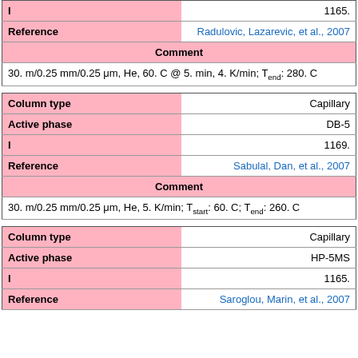| Field | Value |
| --- | --- |
| I | 1165. |
| Reference | Radulovic, Lazarevic, et al., 2007 |
| Comment |  |
|  | 30. m/0.25 mm/0.25 μm, He, 60. C @ 5. min, 4. K/min; Tend: 280. C |
| Field | Value |
| --- | --- |
| Column type | Capillary |
| Active phase | DB-5 |
| I | 1169. |
| Reference | Sabulal, Dan, et al., 2007 |
| Comment |  |
|  | 30. m/0.25 mm/0.25 μm, He, 5. K/min; Tstart: 60. C; Tend: 260. C |
| Field | Value |
| --- | --- |
| Column type | Capillary |
| Active phase | HP-5MS |
| I | 1165. |
| Reference | Saroglou, Marin, et al., 2007 |